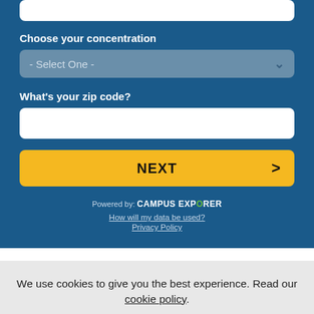Choose your concentration
- Select One -
What's your zip code?
NEXT
Powered by: CAMPUS EXPLORER
How will my data be used?
Privacy Policy
We use cookies to give you the best experience. Read our cookie policy.
Agree